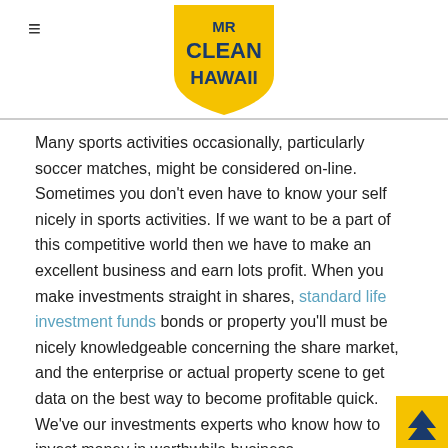MR CLEAN HAWAII
Many sports activities occasionally, particularly soccer matches, might be considered on-line. Sometimes you don't even have to know your self nicely in sports activities. If we want to be a part of this competitive world then we have to make an excellent business and earn lots profit. When you make investments straight in shares, standard life investment funds bonds or property you'll must be nicely knowledgeable concerning the share market, and the enterprise or actual property scene to get data on the best way to become profitable quick. We've our investments experts who know how to invest money in worthwhile business.
Investment migration
Nowadays worldwide each enterprise has turn into very aggressive. Daewoo Lanos, the most affordable Casio watch or a denims set from a close by bazaar will carry out the identical